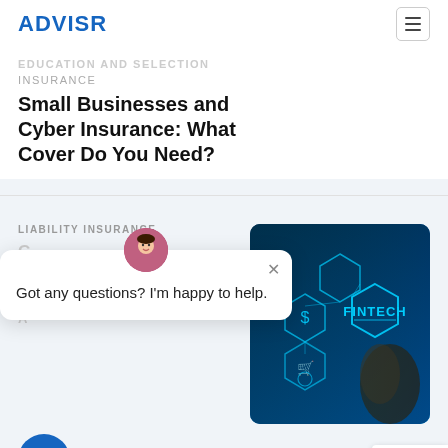ADVISR
INSURANCE
Small Businesses and Cyber Insurance: What Cover Do You Need?
LIABILITY INSURANCE
[Figure (screenshot): Chat widget popup with avatar saying 'Got any questions? I'm happy to help.']
[Figure (photo): Fintech themed photo showing a hand touching a glowing FINTECH hexagonal interface with icons for dollar, shopping cart, lightbulb on dark blue background]
[Figure (other): reCAPTCHA badge with Privacy and Terms links]